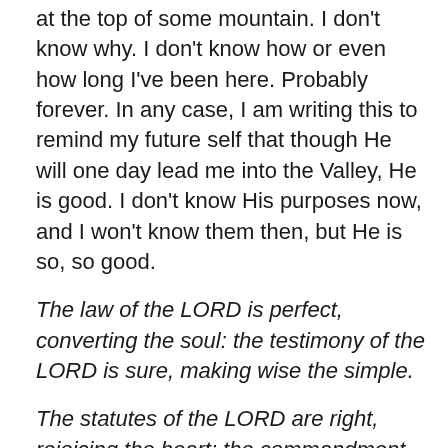at the top of some mountain. I don't know why. I don't know how or even how long I've been here. Probably forever. In any case, I am writing this to remind my future self that though He will one day lead me into the Valley, He is good. I don't know His purposes now, and I won't know them then, but He is so, so good.
The law of the LORD is perfect, converting the soul: the testimony of the LORD is sure, making wise the simple.
The statutes of the LORD are right, rejoicing the heart: the commandment of the LORD is pure, enlightening the eyes.
The fear of the LORD is clean, enduring for ever: the judgments of the LORD are true and righteous altogether.
More to be desired are they than gold, yea, than much fine